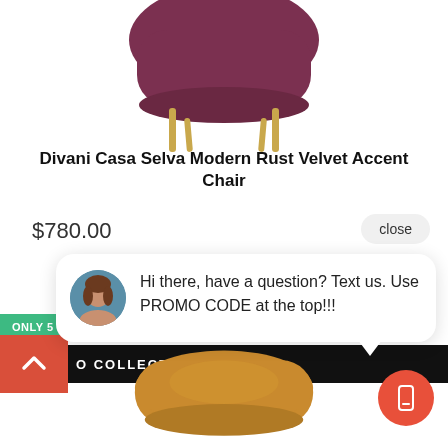[Figure (photo): Partial view of a dark rust/burgundy velvet accent chair with gold legs, cropped at top of page]
Divani Casa Selva Modern Rust Velvet Accent Chair
$780.00
close
[Figure (photo): Chat widget with avatar of a woman and message: Hi there, have a question? Text us. Use PROMO CODE at the top!!!]
ONLY 5 LEFT
O COLLECTION
[Figure (photo): Partial view of an amber/mustard yellow velvet accent chair, bottom of page]
[Figure (illustration): Mobile/phone icon in a circular red button]